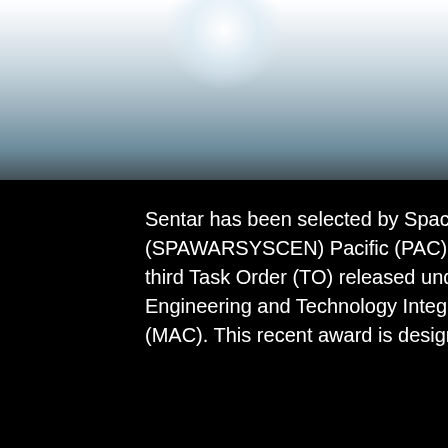[Figure (photo): Abstract background image with a bright white glow at the top fading into blue-grey tones, then transitioning to a dark/black area at the bottom. Appears to show a blurred, reflective surface or sky imagery.]
Sentar has been selected by Space and Naval Warfare Systems Center (SPAWARSYSCEN) Pacific (PAC) as the Small Business Prime Contractor for the third Task Order (TO) released under the Cyberspace Science, Research, Engineering and Technology Integration Small Business Multiple Award Contract (MAC). This recent award is designed to provide external cybersecurity for mission...